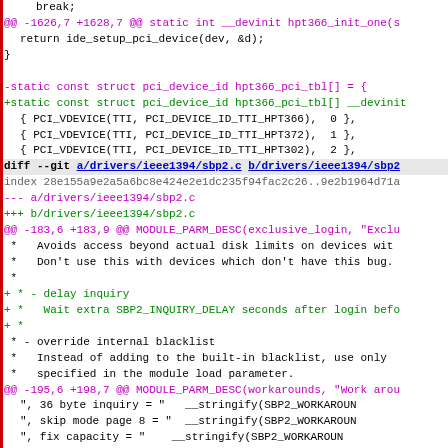[Figure (screenshot): Source code diff view showing changes to Linux kernel drivers, including hpt366 and ieee1394/sbp2.c files, with colored diff syntax highlighting (magenta for removed lines, green for added lines, black for context).]